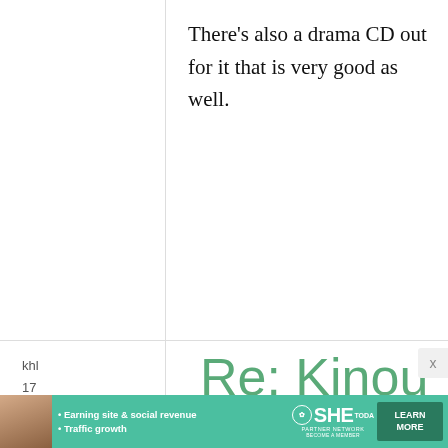There's also a drama CD out for it that is very good as well.
khl
17 December, 2010 - 07:09
permalink
Re: Kinou Nani Tabeta? A manga about food and life,
[Figure (infographic): SHE Partner Network advertisement banner with photo, text 'Earning site & social revenue', 'Traffic growth', SHE logo, and 'LEARN MORE' button]